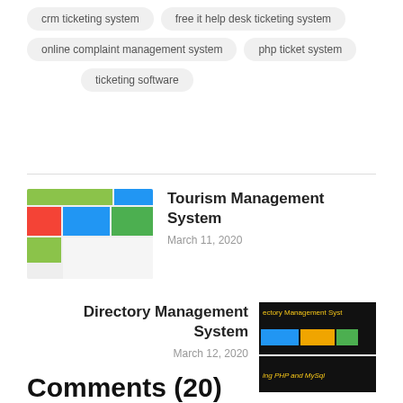crm ticketing system
free it help desk ticketing system
online complaint management system
php ticket system
ticketing software
[Figure (screenshot): Screenshot of Tourism Management System dashboard with colored panels]
Tourism Management System
March 11, 2020
Directory Management System
March 12, 2020
[Figure (screenshot): Two screenshots of Directory Management System interface showing dark header and colored filter buttons]
Comments (20)